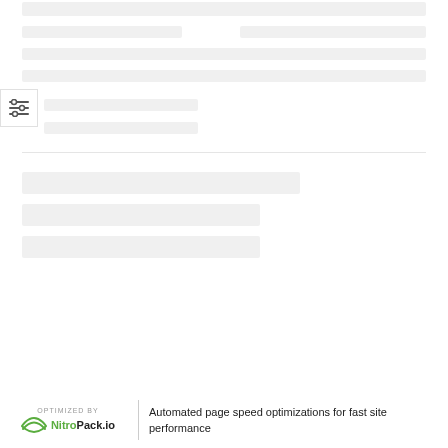[Figure (screenshot): Loading skeleton UI with gray placeholder bars of varying widths, a filter/sliders icon on the left, and a NitroPack.io footer badge at the bottom.]
OPTIMIZED BY NitroPack.io | Automated page speed optimizations for fast site performance